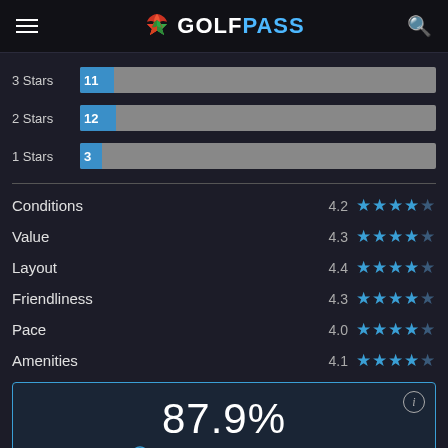GOLFPASS
[Figure (bar-chart): Star ratings bar chart]
| Category | Rating | Stars |
| --- | --- | --- |
| Conditions | 4.2 | ★★★★☆ |
| Value | 4.3 | ★★★★☆ |
| Layout | 4.4 | ★★★★☆ |
| Friendliness | 4.3 | ★★★★☆ |
| Pace | 4.0 | ★★★★☆ |
| Amenities | 4.1 | ★★★★☆ |
87.9%
Recommend this course